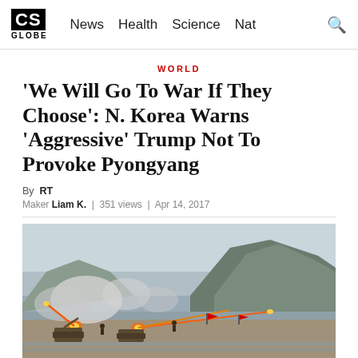CS GLOBE | News  Health  Science  Nat
WORLD
'We Will Go To War If They Choose': N. Korea Warns 'Aggressive' Trump Not To Provoke Pyongyang
By RT
Maker Liam K.  |  351 views  |  Apr 14, 2017
[Figure (photo): Military artillery units firing rockets on a beach with mountains and smoke in the background, red flags visible, North Korea military exercise scene]